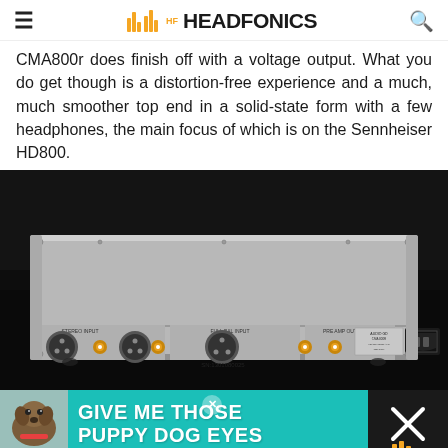HEADFONICS
CMA800r does finish off with a voltage output. What you do get though is a distortion-free experience and a much, much smoother top end in a solid-state form with a few headphones, the main focus of which is on the Sennheiser HD800.
[Figure (photo): Rear panel of the CMA800r headphone amplifier showing XLR and RCA inputs/outputs on a silver chassis against a dark background]
[Figure (photo): Advertisement banner reading GIVE ME THOSE PUPPY DOG EYES with a dog image on teal background]